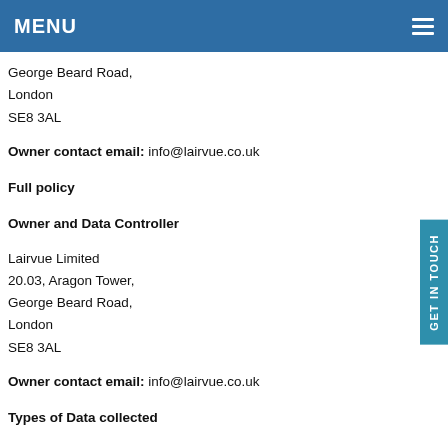MENU
George Beard Road,
London
SE8 3AL
Owner contact email: info@lairvue.co.uk
Full policy
Owner and Data Controller
Lairvue Limited
20.03, Aragon Tower,
George Beard Road,
London
SE8 3AL
Owner contact email: info@lairvue.co.uk
Types of Data collected